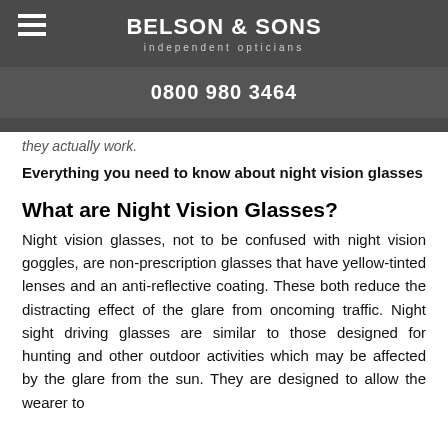BELSON & SONS independent opticians
0800 980 3464
they actually work.
Everything you need to know about night vision glasses
What are Night Vision Glasses?
Night vision glasses, not to be confused with night vision goggles, are non-prescription glasses that have yellow-tinted lenses and an anti-reflective coating. These both reduce the distracting effect of the glare from oncoming traffic. Night sight driving glasses are similar to those designed for hunting and other outdoor activities which may be affected by the glare from the sun. They are designed to allow the wearer to